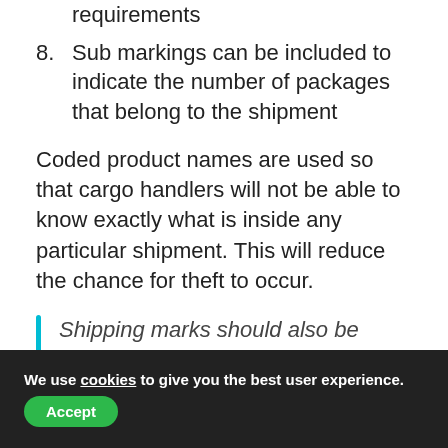requirements
8. Sub markings can be included to indicate the number of packages that belong to the shipment
Coded product names are used so that cargo handlers will not be able to know exactly what is inside any particular shipment. This will reduce the chance for theft to occur.
Shipping marks should also be affixed to LCL cargo!
We use cookies to give you the best user experience. Accept